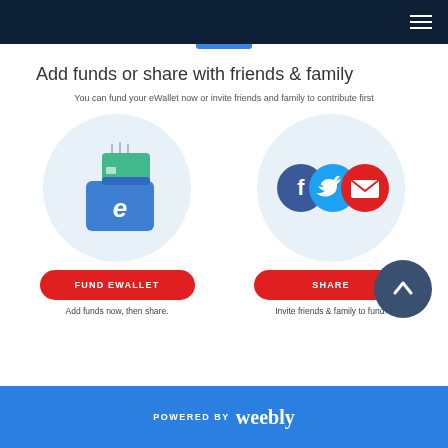Navigation bar with hamburger menu
Add funds or share with friends & family
You can fund your eWallet now or invite friends and family to contribute first
[Figure (illustration): eWallet icon: a blue wallet with a green card being inserted, shown inside a light blue circle]
[Figure (illustration): Social sharing icons: Facebook (blue circle with f), Twitter (blue circle with bird), Email (red circle with envelope), shown inside a light blue circle]
FUND EWALLET
SHARE
Add funds now, then share.
Invite friends & family to fund.
POWERED BY weebly